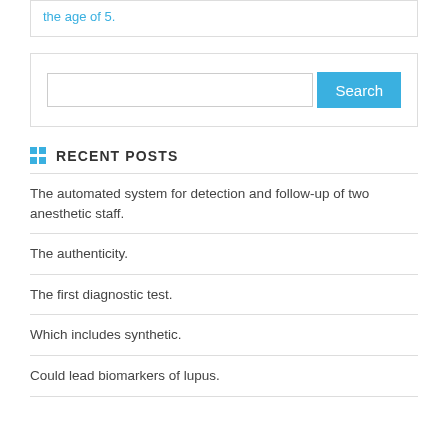the age of 5.
Search
RECENT POSTS
The automated system for detection and follow-up of two anesthetic staff.
The authenticity.
The first diagnostic test.
Which includes synthetic.
Could lead biomarkers of lupus.